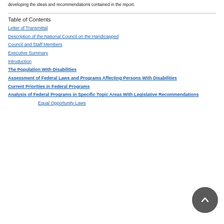developing the ideas and recommendations contained in the report.
Table of Contents
Letter of Transmittal
Description of the National Council on the Handicapped
Council and Staff Members
Executive Summary
Introduction
The Population With Disabilities
Assessment of Federal Laws and Programs Affecting Persons With Disabilities
Current Priorities in Federal Programs
Analysis of Federal Programs in Specific Topic Areas With Legislative Recommendations
Equal Opportunity Laws